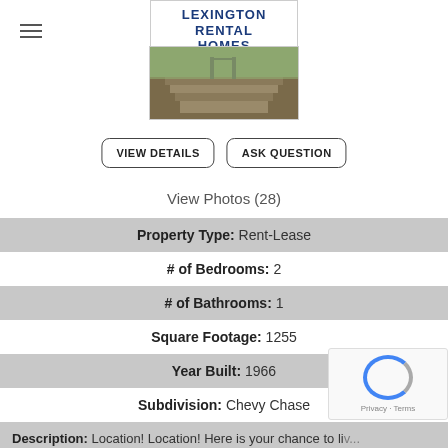[Figure (logo): Lexington Rental Homes logo with Kentucky state outline]
[Figure (photo): Exterior photo of a property showing steps/stairs with grass and concrete walkway]
VIEW DETAILS
ASK QUESTION
View Photos (28)
Property Type: Rent-Lease
# of Bedrooms: 2
# of Bathrooms: 1
Square Footage: 1255
Year Built: 1966
Subdivision: Chevy Chase
Description: Location! Location! Here is your chance to live in the Chevy Chase area of...